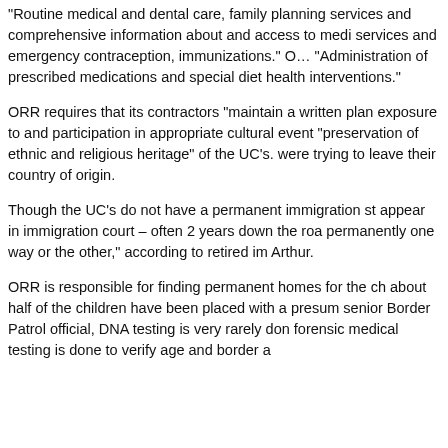“Routine medical and dental care, family planning services and comprehensive information about and access to medi- services and emergency contraception, immunizations.” O… “Administration of prescribed medications and special diet health interventions.”
ORR requires that its contractors “maintain a written plan exposure to and participation in appropriate cultural event “preservation of ethnic and religious heritage” of the UC’s. were trying to leave their country of origin.
Though the UC’s do not have a permanent immigration st- appear in immigration court – often 2 years down the roa- permanently one way or the other,” according to retired im- Arthur.
ORR is responsible for finding permanent homes for the ch- about half of the children have been placed with a presum- senior Border Patrol official, DNA testing is very rarely don- forensic medical testing is done to verify age and border a-